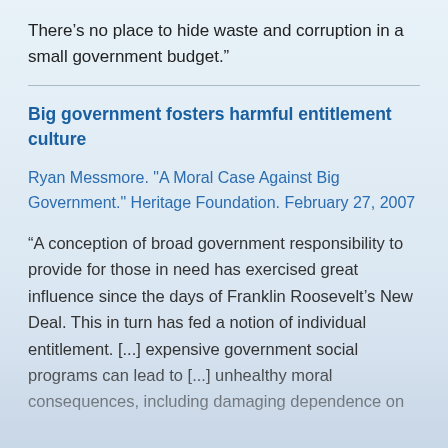There’s no place to hide waste and corruption in a small government budget.”
Big government fosters harmful entitlement culture
Ryan Messmore. "A Moral Case Against Big Government." Heritage Foundation. February 27, 2007
“A conception of broad government responsibility to provide for those in need has exercised great influence since the days of Franklin Roosevelt’s New Deal. This in turn has fed a notion of individual entitlement. [...] expensive government social programs can lead to [...] unhealthy moral consequences, including damaging dependence on